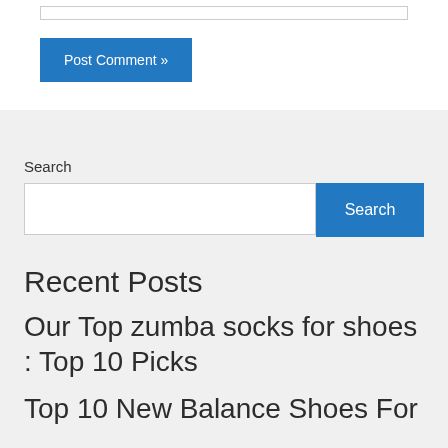[Figure (screenshot): Text input box (form field) at top of page]
Post Comment »
Search
Search
Recent Posts
Our Top zumba socks for shoes : Top 10 Picks
Top 10 New Balance Shoes For